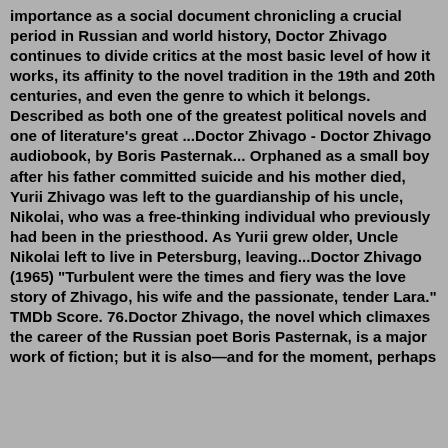importance as a social document chronicling a crucial period in Russian and world history, Doctor Zhivago continues to divide critics at the most basic level of how it works, its affinity to the novel tradition in the 19th and 20th centuries, and even the genre to which it belongs. Described as both one of the greatest political novels and one of literature's great ...Doctor Zhivago - Doctor Zhivago audiobook, by Boris Pasternak... Orphaned as a small boy after his father committed suicide and his mother died, Yurii Zhivago was left to the guardianship of his uncle, Nikolai, who was a free-thinking individual who previously had been in the priesthood. As Yurii grew older, Uncle Nikolai left to live in Petersburg, leaving...Doctor Zhivago (1965) "Turbulent were the times and fiery was the love story of Zhivago, his wife and the passionate, tender Lara." TMDb Score. 76.Doctor Zhivago, the novel which climaxes the career of the Russian poet Boris Pasternak, is a major work of fiction; but it is also—and for the moment, perhaps